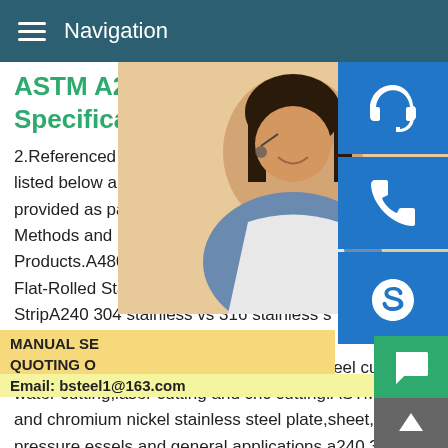Navigation
ASTM A240 / A240M - 17 Sta Specification for
2.Referenced Documents (purchase sepa listed below are referenced within the subj provided as part of the standard..ASTM St Methods and Definitions for Mechanical Te Products.A480/A480M Specification for Ge Flat-Rolled Stainless and Heat-Resisting S StripA240 304 stainless vs 316 stainless s BBNSTEEL produce ASTM A240 304 Stai plates,S30400,A240 Type 304 Stainless steel cutting parts by water cutting,laser cutting and cnc cutting.ASTM a240 (chromium and chromium nickel stainless steel plate,sheet,and strip for pressure essels and general applications.a240 304 stainless s is a common material in stainless steel with a density of 7.93g/cm3.which is also 316L Stainless Steel Sheet ASTM A3
[Figure (photo): Customer service representative woman with headset smiling, with blue social/contact icons on the right side (headset, phone, Skype). Yellow/gold overlay with MANUAL SE... QUOTING O... text and Email: bsteel1@163.com.]